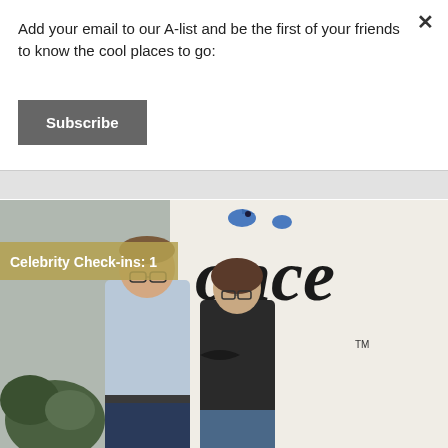Add your email to our A-list and be the first of your friends to know the cool places to go:
[Figure (other): Subscribe button - dark gray rectangular button with white bold text 'Subscribe']
[Figure (photo): Photo of two people (a man and a woman) standing in front of a sign that reads 'once' in large cursive letters. The man is on the left wearing a light blue button-up shirt, and the woman is on the right wearing a dark sweater with arms crossed and glasses. There are green plants visible on the left. A blue bird decoration is visible at the top of the sign. A tan/olive colored badge overlays the top-left of the photo reading 'Celebrity Check-ins: 1'.]
Celebrity Check-ins: 1